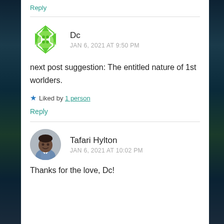Reply
Dc
JAN 6, 2021 AT 9:50 PM
next post suggestion: The entitled nature of 1st worlders.
★ Liked by 1 person
Reply
Tafari Hylton
JAN 6, 2021 AT 10:02 PM
Thanks for the love, Dc!